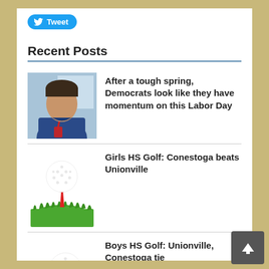[Figure (other): Tweet button with Twitter bird logo]
Recent Posts
[Figure (photo): Photo of a man in a blue shirt with a red lanyard]
After a tough spring, Democrats look like they have momentum on this Labor Day
[Figure (illustration): Golf ball on a red tee in green grass]
Girls HS Golf: Conestoga beats Unionville
[Figure (illustration): Golf ball on a red tee in green grass]
Boys HS Golf: Unionville, Conestoga tie
4 Comments